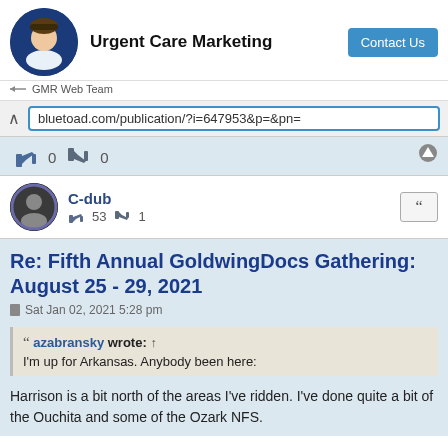[Figure (screenshot): Advertisement banner for Urgent Care Marketing with person avatar, bold title text, and Contact Us button. Below is a GMR Web Team source label.]
bluetoad.com/publication/?i=647953&p=&pn=
👍 0  👎 0
C-dub
👍 53  👎 1
Re: Fifth Annual GoldwingDocs Gathering: August 25 - 29, 2021
Sat Jan 02, 2021 5:28 pm
azabransky wrote: ↑
I'm up for Arkansas. Anybody been here:
Harrison is a bit north of the areas I've ridden. I've done quite a bit of the Ouchita and some of the Ozark NFS.